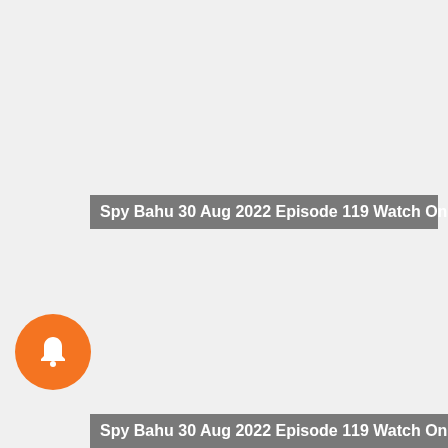[Figure (screenshot): Video player screenshot showing a light gray background representing a video area with overlay title bars]
Spy Bahu 30 Aug 2022 Episode 119 Watch Online
[Figure (other): Orange circular notification bell button]
Spy Bahu 30 Aug 2022 Episode 119 Watch Onli...